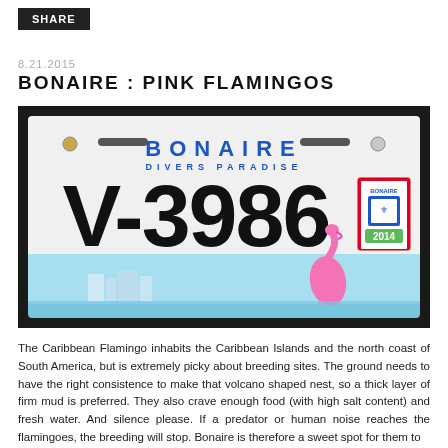SHARE
8.21.2015
BONAIRE : PINK FLAMINGOS
[Figure (photo): A Bonaire license plate reading 'BONAIRE DIVERS PARADISE V-3986' with a 2014 sticker and a flamingo scene at the bottom]
The Caribbean Flamingo inhabits the Caribbean Islands and the north coast of South America, but is extremely picky about breeding sites. The ground needs to have the right consistence to make that volcano shaped nest, so a thick layer of firm mud is preferred. They also crave enough food (with high salt content) and fresh water. And silence please. If a predator or human noise reaches the flamingoes, the breeding will stop. Bonaire is therefore a sweet spot for them to